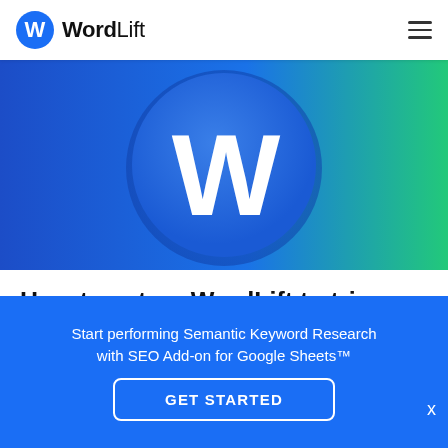WordLift
[Figure (illustration): WordLift logo on a blue-to-green gradient background. A large white W letter inside a blue circle centered on the image.]
How to set up WordLift to trigger a Knowledge Panel.
Start performing Semantic Keyword Research with SEO Add-on for Google Sheets™
GET STARTED